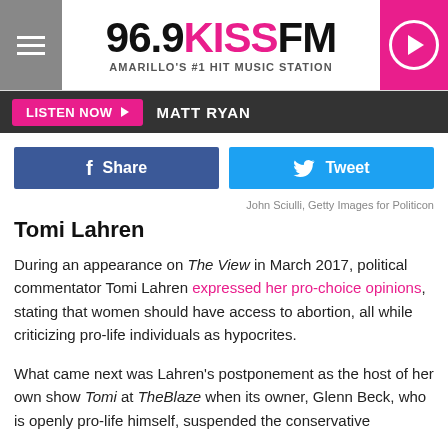96.9 KISS FM — AMARILLO'S #1 HIT MUSIC STATION
LISTEN NOW ▶  MATT RYAN
[Figure (screenshot): Social share buttons: blue Facebook Share button and light-blue Twitter Tweet button]
John Sciulli, Getty Images for Politicon
Tomi Lahren
During an appearance on The View in March 2017, political commentator Tomi Lahren expressed her pro-choice opinions, stating that women should have access to abortion, all while criticizing pro-life individuals as hypocrites.
What came next was Lahren's postponement as the host of her own show Tomi at TheBlaze when its owner, Glenn Beck, who is openly pro-life himself, suspended the conservative